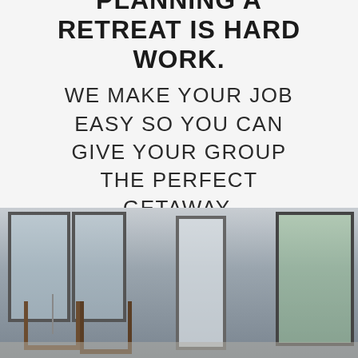PLANNING A RETREAT IS HARD WORK.
WE MAKE YOUR JOB EASY SO YOU CAN GIVE YOUR GROUP THE PERFECT GETAWAY.
[Figure (photo): Interior photo of a screened porch or sunroom with wooden rocking chairs, large windows, a white door, and views of greenery outside.]